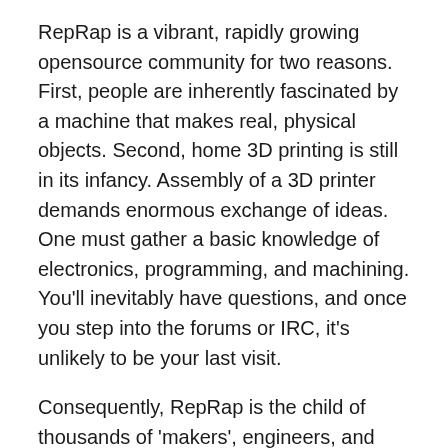RepRap is a vibrant, rapidly growing opensource community for two reasons. First, people are inherently fascinated by a machine that makes real, physical objects. Second, home 3D printing is still in its infancy. Assembly of a 3D printer demands enormous exchange of ideas. One must gather a basic knowledge of electronics, programming, and machining. You'll inevitably have questions, and once you step into the forums or IRC, it's unlikely to be your last visit.
Consequently, RepRap is the child of thousands of 'makers', engineers, and programmers around the world. PhD's and kids alike contribute to its development. The movement has resulted in a number of start-ups, including the recent $10MM VC-funded Makerbot in New York, which has subsequently brought significant media coverage to opensource 3D printing (CNN, Colbert Report, NPR, the